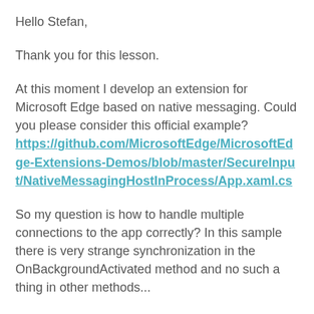Hello Stefan,
Thank you for this lesson.
At this moment I develop an extension for Microsoft Edge based on native messaging. Could you please consider this official example? https://github.com/MicrosoftEdge/MicrosoftEdge-Extensions-Demos/blob/master/SecureInput/NativeMessagingHostInProcess/App.xaml.cs
So my question is how to handle multiple connections to the app correctly? In this sample there is very strange synchronization in the OnBackgroundActivated method and no such a thing in other methods...
Well I did some experiments and it seems that OnBackgroundActivated is always executed by only one